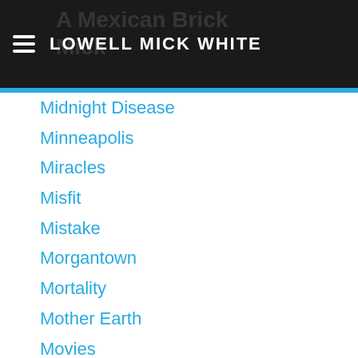LOWELL MICK WHITE
Midnight Disease
Minneapolis
Miracles
Misfit
Mistake
Morgantown
Mortality
Mother Earth
Movies
Moving
Murder
Muses
Music
My Sharona
Mystery
Nature
Nebraska